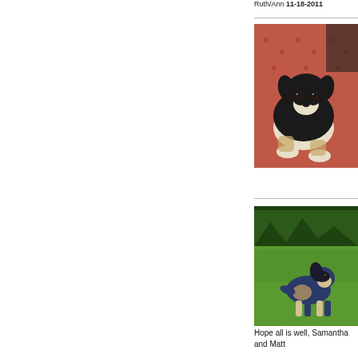Ruth/Ann 11-18-2011
[Figure (photo): Black and white puppy lying on a red patterned blanket or bedspread, looking at camera]
[Figure (photo): Adult Australian Shepherd dog lying on green grass outdoors with trees in background]
Hope all is well, Samantha and Matt